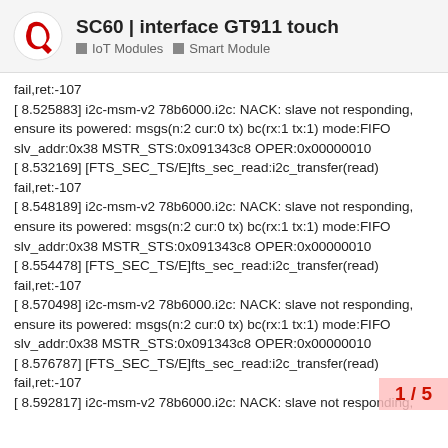SC60 | interface GT911 touch
IoT Modules  Smart Module
fail,ret:-107
[ 8.525883] i2c-msm-v2 78b6000.i2c: NACK: slave not responding, ensure its powered: msgs(n:2 cur:0 tx) bc(rx:1 tx:1) mode:FIFO slv_addr:0x38 MSTR_STS:0x091343c8 OPER:0x00000010
[ 8.532169] [FTS_SEC_TS/E]fts_sec_read:i2c_transfer(read) fail,ret:-107
[ 8.548189] i2c-msm-v2 78b6000.i2c: NACK: slave not responding, ensure its powered: msgs(n:2 cur:0 tx) bc(rx:1 tx:1) mode:FIFO slv_addr:0x38 MSTR_STS:0x091343c8 OPER:0x00000010
[ 8.554478] [FTS_SEC_TS/E]fts_sec_read:i2c_transfer(read) fail,ret:-107
[ 8.570498] i2c-msm-v2 78b6000.i2c: NACK: slave not responding, ensure its powered: msgs(n:2 cur:0 tx) bc(rx:1 tx:1) mode:FIFO slv_addr:0x38 MSTR_STS:0x091343c8 OPER:0x00000010
[ 8.576787] [FTS_SEC_TS/E]fts_sec_read:i2c_transfer(read) fail,ret:-107
[ 8.592817] i2c-msm-v2 78b6000.i2c: NACK: slave not responding, ensure its powered: msgs(n:2 cur:0 tx) bc(rx:1
 slv_addr:0x38 MSTR_STS:0x091343c8 OPE
[ 8.599071] [FTS_SEC_TS/E]fts_sec_read:i2c
1 / 5